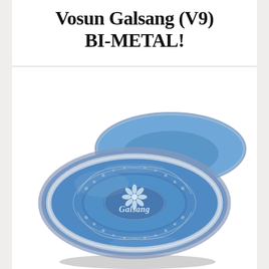Vosun Galsang (V9) BI-METAL!
[Figure (photo): Blue metallic bi-metal yo-yo (Vosun Galsang V9) with silver accent ring, decorative engraving, flower/daisy logo, and 'Galsang' text on the face. The yo-yo is shown at a slight angle revealing the top half of a second yo-yo behind it. Text 'VOSUN PREMIUM' appears on the left rim and 'COLLECTION' on the right rim.]